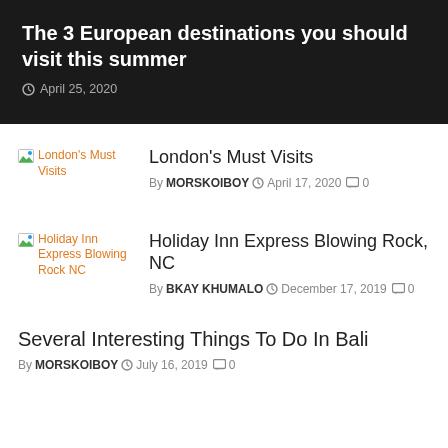The 3 European destinations you should visit this summer
April 25, 2020
[Figure (photo): Thumbnail image placeholder for London's Must Visits article]
London's Must Visits
By MORSKOIBOY  April 17, 2020  0
[Figure (photo): Thumbnail image placeholder for Holiday Inn Express Blowing Rock NC article]
Holiday Inn Express Blowing Rock, NC
By BKAY KHUMALO  December 17, 2019  0
Several Interesting Things To Do In Bali
By MORSKOIBOY  July 16, 2019  0